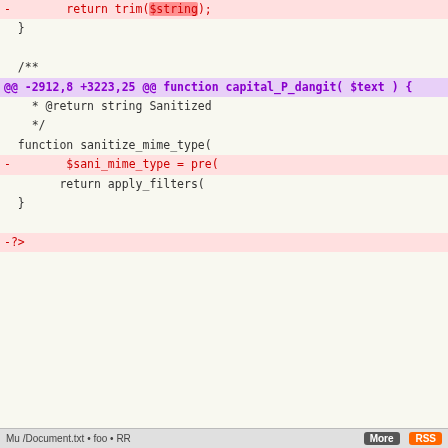[Figure (screenshot): A unified diff view (code diff screenshot) showing two columns side by side. Left column shows removed lines (red minus, pink background) and right column shows added lines (green plus, green background). The diff is for a PHP file showing changes to functions including capital_P_dangit and sanitize_mime_type, and a new function sanitize_trackback being added. A hunk header '@@ -2912,8 +3223,25 @@ function capital_P_dangit( $text ) {' is visible. The left side shows removal of '$sani_mime_type = pre' and removal of '?>' at the end. The right side shows many new lines adding a sanitize_trackback function with docblock and implementation.]
Mu /Document.txt • foo • RR                                    More  RSS